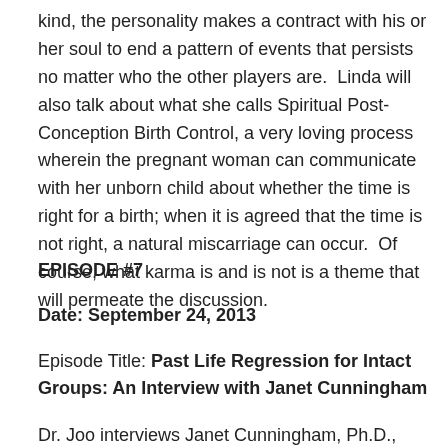kind, the personality makes a contract with his or her soul to end a pattern of events that persists no matter who the other players are.  Linda will also talk about what she calls Spiritual Post-Conception Birth Control, a very loving process wherein the pregnant woman can communicate with her unborn child about whether the time is right for a birth; when it is agreed that the time is not right, a natural miscarriage can occur.  Of course, what karma is and is not is a theme that will permeate the discussion.
EPISODE #7
Date: September 24, 2013
Episode Title: Past Life Regression for Intact Groups: An Interview with Janet Cunningham
Dr. Joo interviews Janet Cunningham, Ph.D., author of A